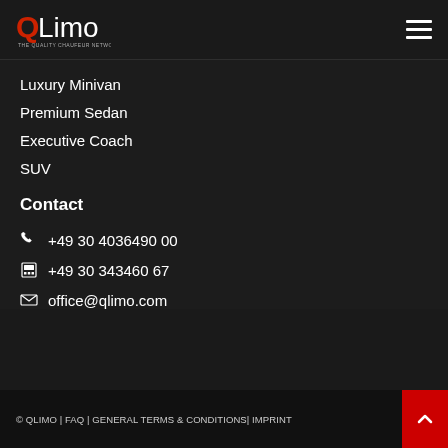QLimo logo and navigation menu icon
Luxury Minivan
Premium Sedan
Executive Coach
SUV
Contact
+49 30 4036490 00
+49 30 343460 67
office@qlimo.com
© QLIMO | FAQ | GENERAL TERMS & CONDITIONS | IMPRINT